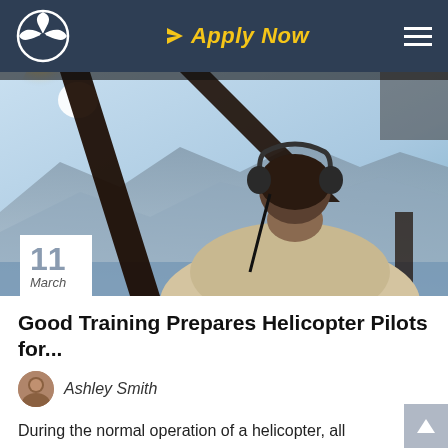Apply Now
[Figure (photo): View from inside a helicopter cockpit, pilot wearing headset with mountains and sky visible through windscreen, sunlight flare visible]
11 March
Good Training Prepares Helicopter Pilots for...
Ashley Smith
During the normal operation of a helicopter, all